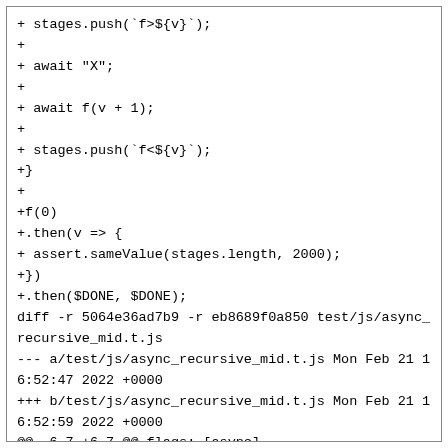+ stages.push(`f>${v}`);
+
+ await "X";
+
+ await f(v + 1);
+
+ stages.push(`f<${v}`);
+}
+
+f(0)
+.then(v => {
+ assert.sameValue(stages.length, 2000);
+})
+.then($DONE, $DONE);
diff -r 5064e36ad7b9 -r eb8689f0a850 test/js/async_recursive_mid.t.js
--- a/test/js/async_recursive_mid.t.js Mon Feb 21 16:52:47 2022 +0000
+++ b/test/js/async_recursive_mid.t.js Mon Feb 21 16:52:59 2022 +0000
@@ -6,7 +6,7 @@ flags: [async]
let stages = [];

async function f(v) {
- if (v == 3) {